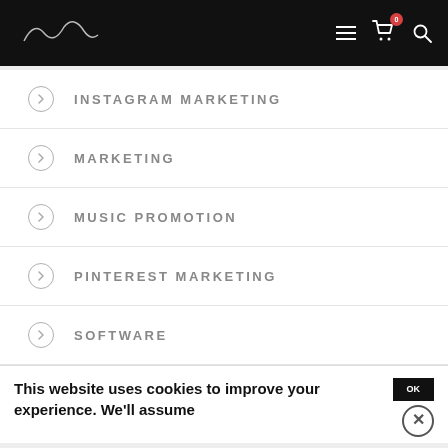Navigation header with logo and icons (hamburger, cart with 0 badge, search)
INSTAGRAM MARKETING
MARKETING
MUSIC PROMOTION
PINTEREST MARKETING
SOFTWARE
This website uses cookies to improve your experience. We'll assume
[Figure (screenshot): DuckDuckGo advertisement banner: orange section with text 'Search, browse, and email with more privacy.' and 'All in One Free App' button, dark section with DuckDuckGo duck logo and brand name]
Advertisements